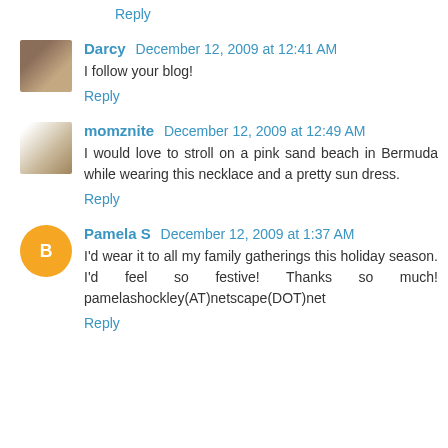Reply
Darcy December 12, 2009 at 12:41 AM
I follow your blog!
Reply
momznite December 12, 2009 at 12:49 AM
I would love to stroll on a pink sand beach in Bermuda while wearing this necklace and a pretty sun dress.
Reply
Pamela S December 12, 2009 at 1:37 AM
I'd wear it to all my family gatherings this holiday season. I'd feel so festive! Thanks so much! pamelashockley(AT)netscape(DOT)net
Reply